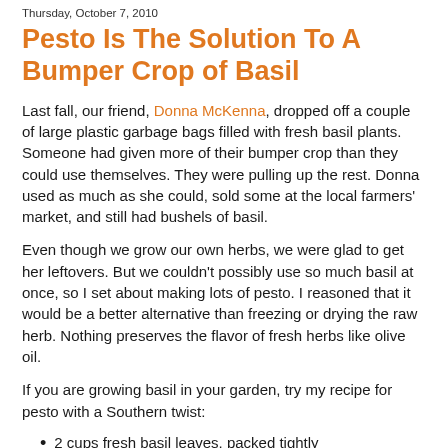Thursday, October 7, 2010
Pesto Is The Solution To A Bumper Crop of Basil
Last fall, our friend, Donna McKenna, dropped off a couple of large plastic garbage bags filled with fresh basil plants. Someone had given more of their bumper crop than they could use themselves.  They were pulling up the rest.  Donna used as much as she could, sold some at the local farmers' market, and still had bushels of basil.
Even though we grow our own herbs, we were glad to get her leftovers.  But we couldn't possibly use so much basil at once, so I set about making lots of pesto.  I reasoned that it would be a better alternative than freezing or drying the raw herb.  Nothing preserves the flavor of fresh herbs like olive oil.
If you are growing basil in your garden, try my recipe for pesto with a Southern twist:
2 cups fresh basil leaves, packed tightly